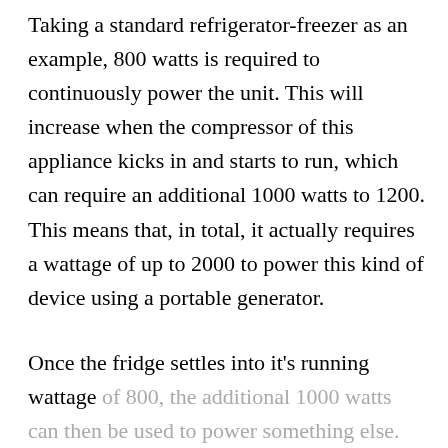Taking a standard refrigerator-freezer as an example, 800 watts is required to continuously power the unit. This will increase when the compressor of this appliance kicks in and starts to run, which can require an additional 1000 watts to 1200. This means that, in total, it actually requires a wattage of up to 2000 to power this kind of device using a portable generator.
Once the fridge settles into it's running wattage of 800, the additional 1000 watts can then be used to power something else. This makes this